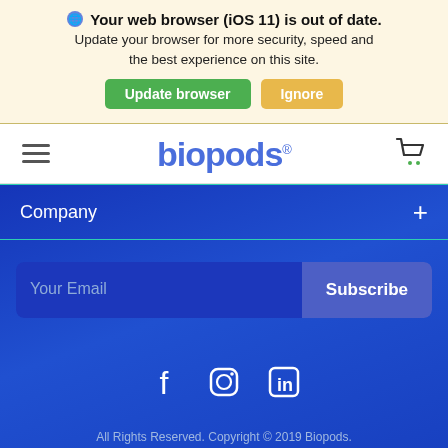Your web browser (iOS 11) is out of date. Update your browser for more security, speed and the best experience on this site.
Update browser
Ignore
[Figure (logo): Biopods logo with hamburger menu and shopping cart icon in a white navigation bar]
Company +
Your Email
Subscribe
[Figure (illustration): Social media icons: Facebook, Instagram, LinkedIn in white on blue background]
All Rights Reserved. Copyright © 2019 Biopods.